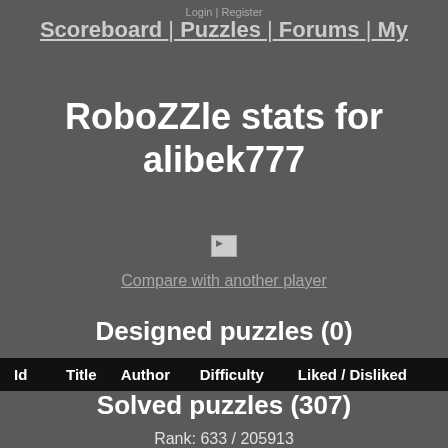Login | Register
Scoreboard | Puzzles | Forums | My
RoboZZle stats for alibek777
[Figure (photo): Small broken/placeholder image icon for user avatar]
Compare with another player
Designed puzzles (0)
| Id | Title | Author | Difficulty | Liked / Disliked |
| --- | --- | --- | --- | --- |
Solved puzzles (307)
Rank: 633 / 205913